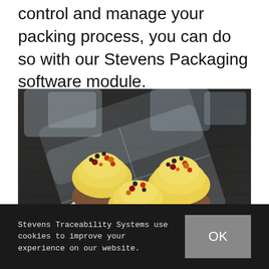control and manage your packing process, you can do so with our Stevens Packaging software module.
[Figure (photo): Photograph of cupcakes with yellow frosting and colorful berry toppings arranged in a clear plastic clamshell packaging container, placed on a dark wooden surface.]
Stevens Traceability Systems use cookies to improve your experience on our website.